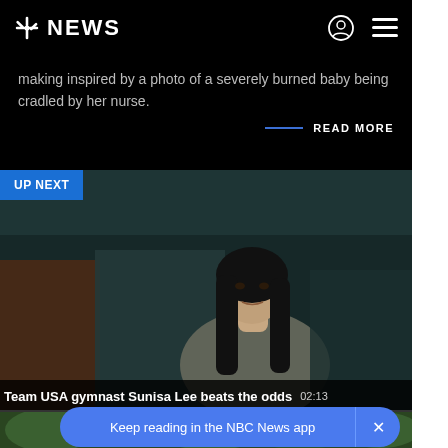NBC NEWS
making inspired by a photo of a severely burned baby being cradled by her nurse.
READ MORE
UP NEXT
[Figure (photo): Woman with long black hair sitting in a dimly lit room, looking slightly upward, in a documentary-style interview setting]
Team USA gymnast Sunisa Lee beats the odds  02:13
Keep reading in the NBC News app